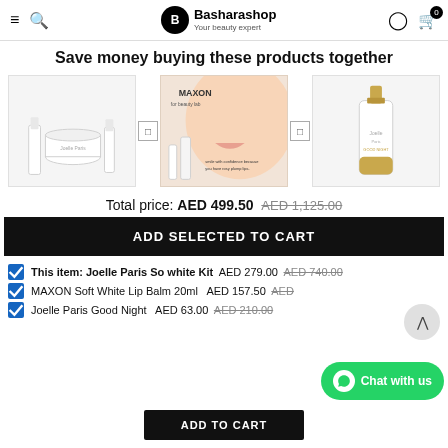Basharashop - Your beauty expert
Save money buying these products together
[Figure (photo): Three product images: Joelle Paris So white Kit, MAXON Soft White Lip Balm, Joelle Paris Good Night serum]
Total price: AED 499.50  AED 1,125.00
ADD SELECTED TO CART
This item: Joelle Paris So white Kit  AED 279.00  AED 740.00
MAXON Soft White Lip Balm 20ml  AED 157.50  AED [partially hidden]
Joelle Paris Good Night  AED 63.00  AED 210.00
ADD TO CART